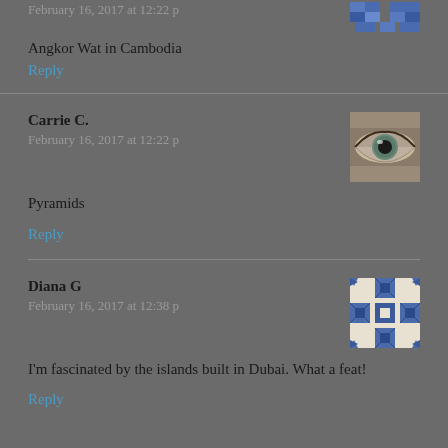February 16, 2017 at 12:22 p
Angkor Wat in Cambodia
Reply
Carrie C.
February 16, 2017 at 12:22 p
Pyramids
Reply
Diana G
February 16, 2017 at 12:38 p
I'm fascinated by the islands built in Dubai. What a feat!
Reply